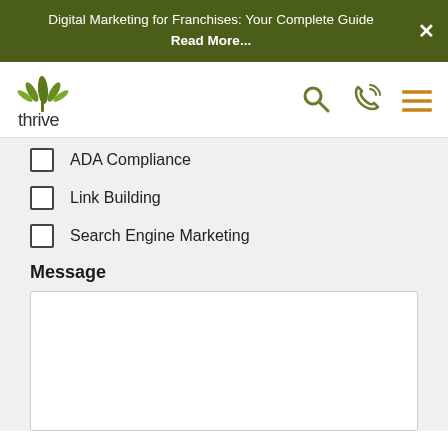Digital Marketing for Franchises: Your Complete Guide Read More...
[Figure (logo): Thrive agency logo with green leaf/plant icon and 'thrive' wordmark]
ADA Compliance
Link Building
Search Engine Marketing
Message
[Figure (screenshot): Empty message textarea input field]